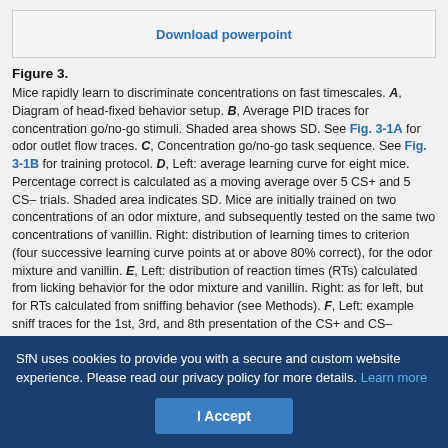[Figure (other): Download powerpoint button/link box]
Figure 3.
Mice rapidly learn to discriminate concentrations on fast timescales. A, Diagram of head-fixed behavior setup. B, Average PID traces for concentration go/no-go stimuli. Shaded area shows SD. See Fig. 3-1A for odor outlet flow traces. C, Concentration go/no-go task sequence. See Fig. 3-1B for training protocol. D, Left: average learning curve for eight mice. Percentage correct is calculated as a moving average over 5 CS+ and 5 CS– trials. Shaded area indicates SD. Mice are initially trained on two concentrations of an odor mixture, and subsequently tested on the same two concentrations of vanillin. Right: distribution of learning times to criterion (four successive learning curve points at or above 80% correct), for the odor mixture and vanillin. E, Left: distribution of reaction times (RTs) calculated from licking behavior for the odor mixture and vanillin. Right: as for left, but for RTs calculated from sniffing behavior (see Methods). F, Left: example sniff traces for the 1st, 3rd, and 8th presentation of the CS+ and CS– concentrations for the initial concentration discrimination learning session
SfN uses cookies to provide you with a secure and custom website experience. Please read our privacy policy for more details. Learn more
I Accept